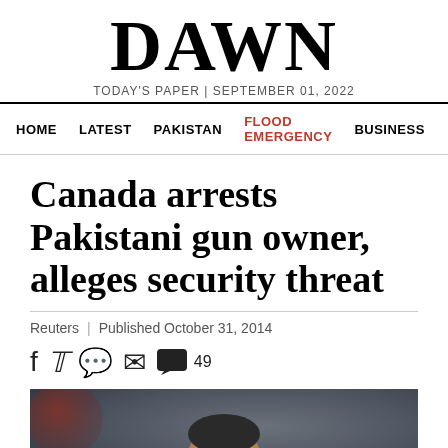DAWN
TODAY'S PAPER | SEPTEMBER 01, 2022
HOME  LATEST  PAKISTAN  FLOOD EMERGENCY  BUSINESS
Canada arrests Pakistani gun owner, alleges security threat
Reuters | Published October 31, 2014
[Figure (photo): Photo of a man, partial face visible, dark background with blurred red element in upper left]